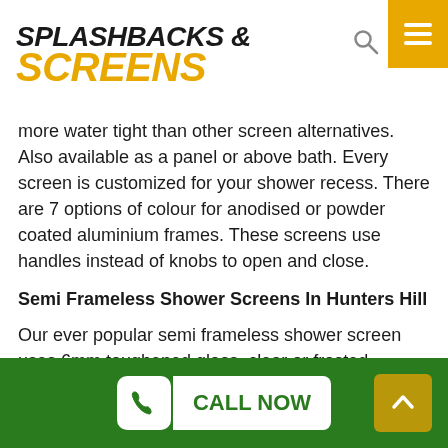SPLASHBACKS & SCREENS
more water tight than other screen alternatives. Also available as a panel or above bath. Every screen is customized for your shower recess. There are 7 options of colour for anodised or powder coated aluminium frames. These screens use handles instead of knobs to open and close.
Semi Frameless Shower Screens In Hunters Hill
Our ever popular semi frameless shower screen uses 6mm toughened glass, clear or frosted. Whether you select sliding or pivot doors there is only metal on the top and bottom of the door. Pivot doors only open in the
CALL NOW